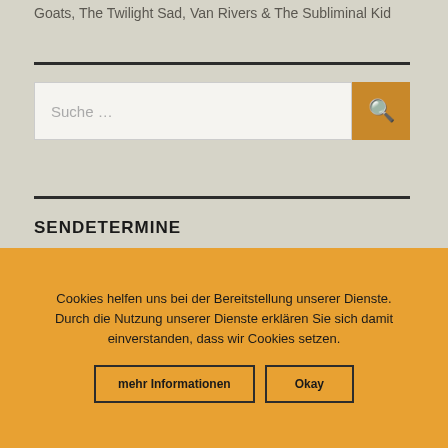Goats, The Twilight Sad, Van Rivers & The Subliminal Kid
SENDETERMINE
Keine Termine
Cookies helfen uns bei der Bereitstellung unserer Dienste. Durch die Nutzung unserer Dienste erklären Sie sich damit einverstanden, dass wir Cookies setzen.
mehr Informationen
Okay